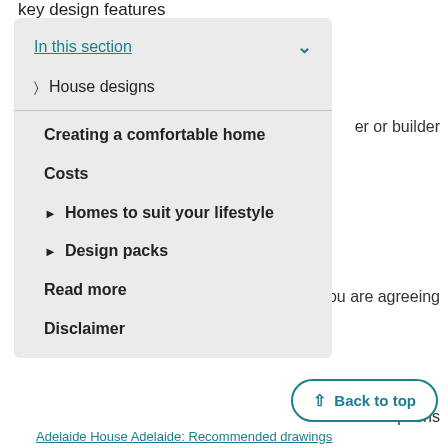key design features
[Figure (screenshot): Navigation panel with 'In this section' dropdown showing menu items: House designs, Creating a comfortable home, Costs, Homes to suit your lifestyle, Design packs, Read more, Disclaimer]
er or builder
es you are agreeing
options
Back to top
Adelaide House Adelaide: Recommended drawings